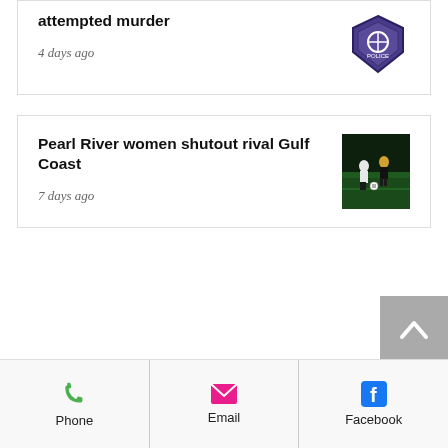attempted murder
4 days ago
Pearl River women shutout rival Gulf Coast
7 days ago
[Figure (illustration): Back to top arrow button, gray background with upward chevron]
Phone | Email | Facebook